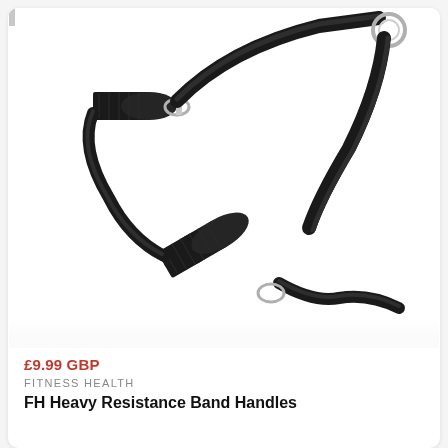[Figure (photo): Close-up product photo of FH Heavy Resistance Band Handles — two black foam-padded cylindrical handles connected by black nylon webbing straps with metal D-rings, on a white background.]
£9.99 GBP
FITNESS HEALTH
FH Heavy Resistance Band Handles